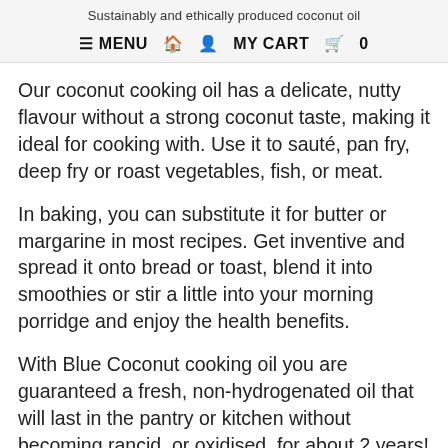Sustainably and ethically produced coconut oil
≡ MENU  🏠  👤  MY CART  🛒  0
Our coconut cooking oil has a delicate, nutty flavour without a strong coconut taste, making it ideal for cooking with. Use it to sauté, pan fry, deep fry or roast vegetables, fish, or meat.
In baking, you can substitute it for butter or margarine in most recipes. Get inventive and spread it onto bread or toast, blend it into smoothies or stir a little into your morning porridge and enjoy the health benefits.
With Blue Coconut cooking oil you are guaranteed a fresh, non-hydrogenated oil that will last in the pantry or kitchen without becoming rancid, or oxidised, for about 2 years!